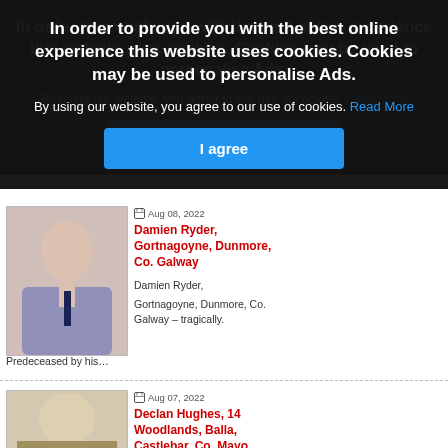[Figure (screenshot): Cookie consent overlay on a website showing obituary listings. The overlay has a dark background with white bold text asking users to consent to cookies, a 'Read More' link in blue, and a blue 'I agree' button. Behind the overlay are partially visible obituary entries including photos and red-colored names.]
In order to provide you with the best online experience this website uses cookies. Cookies may be used to personalise Ads.
By using our website, you agree to our use of cookies. Read More
I agree
Aug 08, 2022
Damien Ryder, Gortnagoyne, Dunmore, Co. Galway
Damien Ryder,
Gortnagoyne, Dunmore, Co. Galway – tragically.
Predeceased by his…
Aug 07, 2022
Declan Hughes, 14 Woodlands, Balla, Castlebar, Co. Mayo